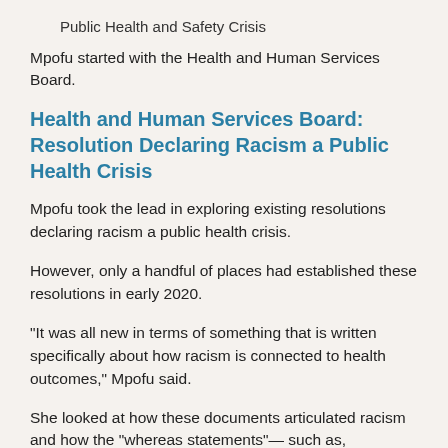Public Health and Safety Crisis
Mpofu started with the Health and Human Services Board.
Health and Human Services Board: Resolution Declaring Racism a Public Health Crisis
Mpofu took the lead in exploring existing resolutions declaring racism a public health crisis.
However, only a handful of places had established these resolutions in early 2020.
“It was all new in terms of something that is written specifically about how racism is connected to health outcomes,” Mpofu said.
She looked at how these documents articulated racism and how the “whereas statements”— such as, “whereas, racism causes persistent racial discrimination influencing many areas of life, including housing, education, employment and criminal justice”— articulated observations and alignments